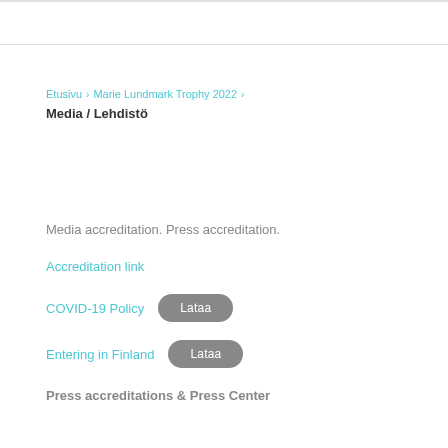Etusivu > Marie Lundmark Trophy 2022 > Media / Lehdistö
Media / Lehdistö
Media accreditation. Press accreditation.
Accreditation link
COVID-19 Policy  Lataa
Entering in Finland  Lataa
Press accreditations & Press Center